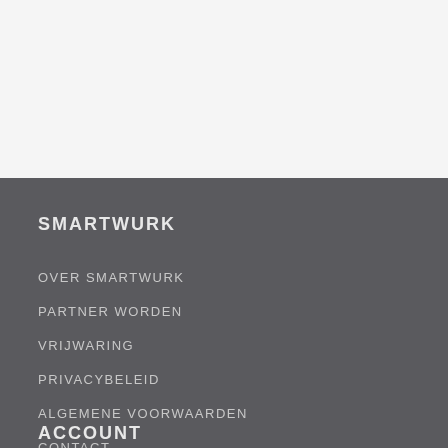SMARTWURK
OVER SMARTWURK
PARTNER WORDEN
VRIJWARING
PRIVACYBELEID
ALGEMENE VOORWAARDEN
CONTACT
ACCOUNT